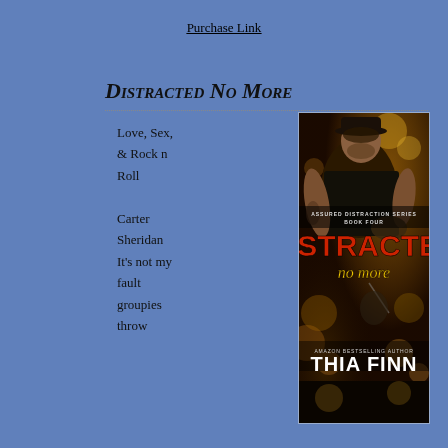Purchase Link
Distracted No More
Love, Sex, & Rock n Roll

Carter Sheridan
It's not my fault groupies throw
[Figure (illustration): Book cover for 'Distracted No More' by Thia Finn, Assured Distraction Series Book Four. Shows a tattooed man in a leather vest with a cowboy hat against a bokeh background. Large red title 'DISTRACTED' with yellow script 'no more' below. 'Amazon Bestselling Author THIA FINN' at bottom.]